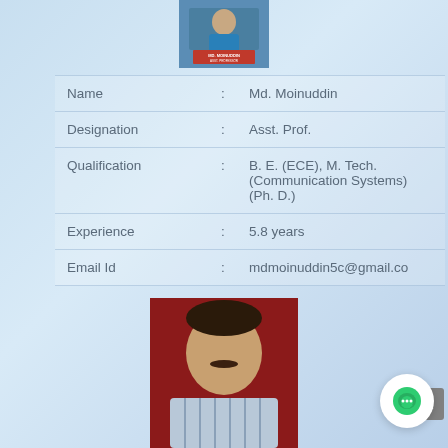[Figure (photo): Profile photo of Md. Moinuddin at a desk with nameplate]
| Field | : | Value |
| --- | --- | --- |
| Name | : | Md. Moinuddin |
| Designation | : | Asst. Prof. |
| Qualification | : | B. E. (ECE), M. Tech. (Communication Systems) (Ph. D.) |
| Experience | : | 5.8 years |
| Email Id | : | mdmoinuddin5c@gmail.co |
[Figure (photo): Profile photo of another faculty member, man with mustache in striped shirt, against red background]